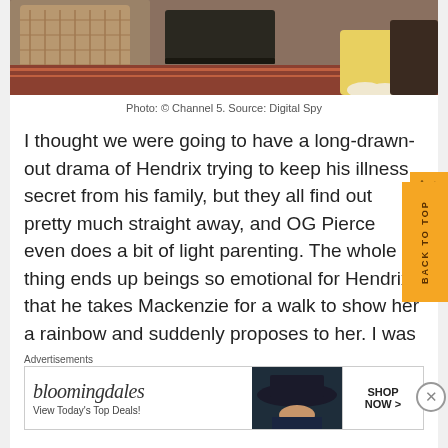[Figure (photo): Photo of a person sitting in a room with a rattan chair, oriental rug, and coffee table. Person wearing yellow patterned clothing and white shoes.]
Photo: © Channel 5. Source: Digital Spy
I thought we were going to have a long-drawn-out drama of Hendrix trying to keep his illness secret from his family, but they all find out pretty much straight away, and OG Pierce even does a bit of light parenting. The whole thing ends up beings so emotional for Hendrix that he takes Mackenzie for a walk to show her a rainbow and suddenly proposes to her. I was
Advertisements
[Figure (other): Bloomingdales advertisement banner: 'bloomingdales - View Today's Top Deals! SHOP NOW >']